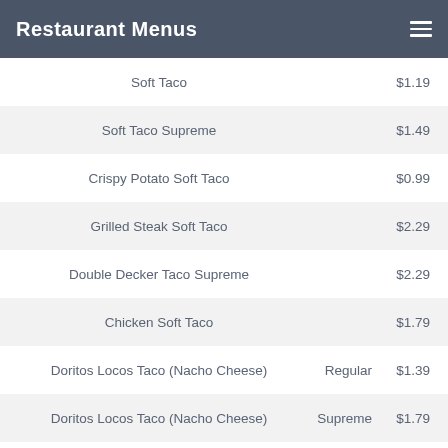Restaurant Menus
| Item | Type | Price |
| --- | --- | --- |
| Soft Taco |  | $1.19 |
| Soft Taco Supreme |  | $1.49 |
| Crispy Potato Soft Taco |  | $0.99 |
| Grilled Steak Soft Taco |  | $2.29 |
| Double Decker Taco Supreme |  | $2.29 |
| Chicken Soft Taco |  | $1.79 |
| Doritos Locos Taco (Nacho Cheese) | Regular | $1.39 |
| Doritos Locos Taco (Nacho Cheese) | Supreme | $1.79 |
| Doritos Locos Taco (Cool Ranch) | Regular | $1.39 |
| Doritos Locos Taco (Cool Ranch) | Supreme | $1.79 |
| Doritos Locos Taco (Fiery) | Regular | $1.39 |
| Doritos Locos Taco (Fiery) | Supreme | $1.79 |